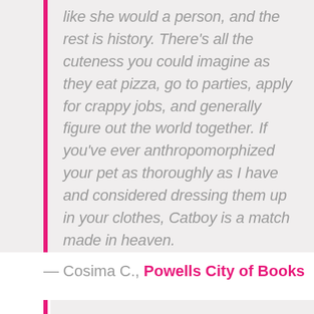like she would a person, and the rest is history. There's all the cuteness you could imagine as they eat pizza, go to parties, apply for crappy jobs, and generally figure out the world together. If you've ever anthropomorphized your pet as thoroughly as I have and considered dressing them up in your clothes, Catboy is a match made in heaven.
— Cosima C., Powells City of Books